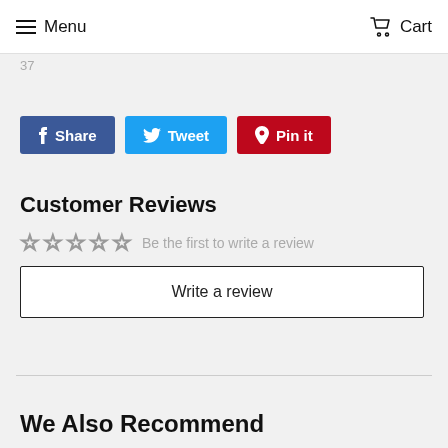Menu   Cart
37
Share  Tweet  Pin it
Customer Reviews
☆☆☆☆☆  Be the first to write a review
Write a review
We Also Recommend